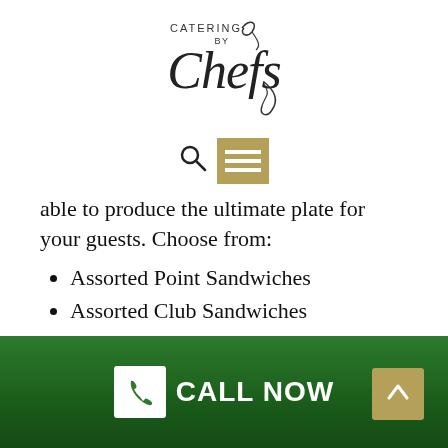[Figure (logo): Catering by Chefs logo — script/cursive text with decorative flourish]
[Figure (other): Navigation bar with search icon and tan/gold hamburger menu button]
able to produce the ultimate plate for your guests. Choose from:
Assorted Point Sandwiches
Assorted Club Sandwiches
Mini Baguettes
Jumbo Wrap Cross Sections
Mini Snack Size Bagels
Each of our sandwich platters for Niddrie occasions can be personalized with your choice of fillings. Our
CALL NOW